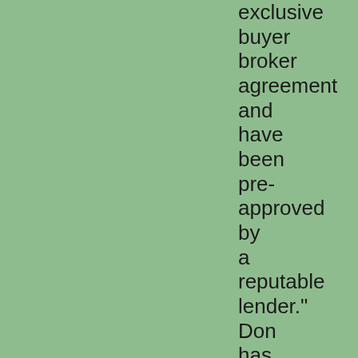exclusive buyer broker agreement and have been pre-approved by a reputable lender." Don has several accreditations.

Among them are the